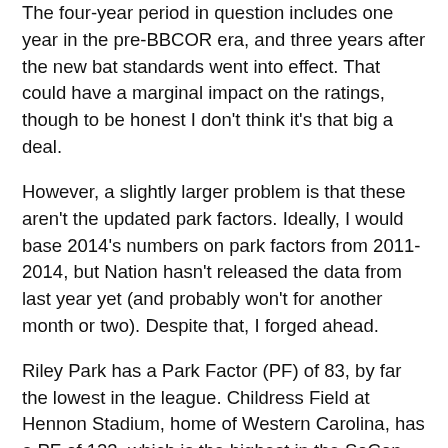The four-year period in question includes one year in the pre-BBCOR era, and three years after the new bat standards went into effect. That could have a marginal impact on the ratings, though to be honest I don't think it's that big a deal.
However, a slightly larger problem is that these aren't the updated park factors. Ideally, I would base 2014's numbers on park factors from 2011-2014, but Nation hasn't released the data from last year yet (and probably won't for another month or two). Despite that, I forged ahead.
Riley Park has a Park Factor (PF) of 83, by far the lowest in the league. Childress Field at Hennon Stadium, home of Western Carolina, has a PF of 123, which is the highest in the SoCon for the 2010-13 period.